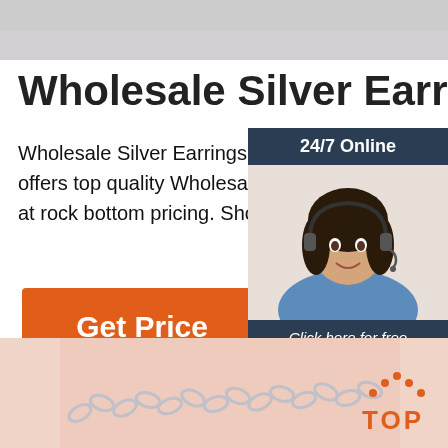[Figure (photo): Gray banner at top of page, partially visible product/background image]
Wholesale Silver Earrings $5
Wholesale Silver Earrings $5 - Wholesa offers top quality Wholesale Sterling Silv at rock bottom pricing. Shop online toda
[Figure (infographic): Orange 'Get Price' button]
[Figure (infographic): Chat widget with '24/7 Online' header, photo of woman with headset, 'Click here for free chat!' text and orange QUOTATION button]
[Figure (logo): Orange 'TOP' button with dot pattern arrow]
[Figure (photo): Bottom strip showing silver chain necklace on peach/skin background]